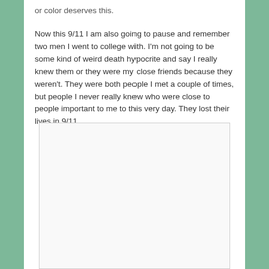or color deserves this.
Now this 9/11 I am also going to pause and remember two men I went to college with. I'm not going to be some kind of weird death hypocrite and say I really knew them or they were my close friends because they weren't. They were both people I met a couple of times, but people I never really knew who were close to people important to me to this very day. They lost their lives in 9/11.
[Figure (photo): A blank or empty image placeholder with a light gray background and thin border.]